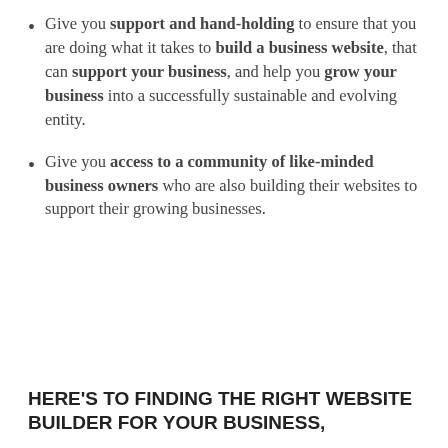Give you support and hand-holding to ensure that you are doing what it takes to build a business website, that can support your business, and help you grow your business into a successfully sustainable and evolving entity.
Give you access to a community of like-minded business owners who are also building their websites to support their growing businesses.
HERE'S TO FINDING THE RIGHT WEBSITE BUILDER FOR YOUR BUSINESS,